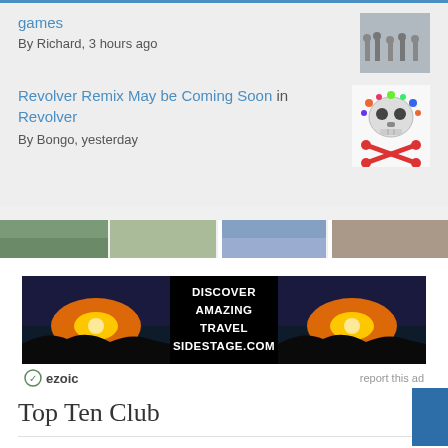games
By Richard, 3 hours ago
Revolver Remix May be Coming Soon in Revolver
By Bongo, yesterday
[Figure (other): Advertisement banner: DISCOVER AMAZING TRAVEL SIDESTAGE.COM with sunset landscape images on left and right, ezoic badge, report this ad link]
Top Ten Club
The Beatles' songs – complete A-Z list!